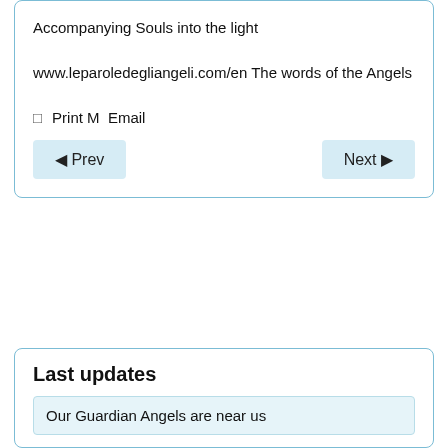Accompanying Souls into the light
www.leparoledegliangeli.com/en The words of the Angels
Print M   Email
Prev
Next
Last updates
Our Guardian Angels are near us